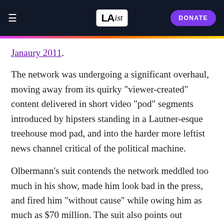LAist — DONATE
Janaury 2011.
The network was undergoing a significant overhaul, moving away from its quirky "viewer-created" content delivered in short video "pod" segments introduced by hipsters standing in a Lautner-esque treehouse mod pad, and into the harder more leftist news channel critical of the political machine.
Olbermann's suit contends the network meddled too much in his show, made him look bad in the press, and fired him "without cause" while owing him as much as $70 million. The suit also points out